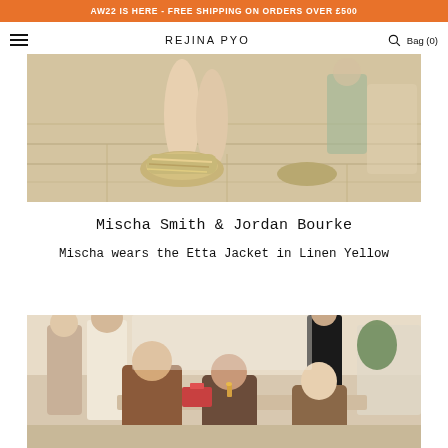AW22 IS HERE - FREE SHIPPING ON ORDERS OVER £500
REJINA PYO  Bag (0)
[Figure (photo): Close-up photo of a person's feet wearing gold/beige chunky sneakers on a wooden floor]
Mischa Smith & Jordan Bourke
Mischa wears the Etta Jacket in Linen Yellow
[Figure (photo): Event photo showing several women seated and standing at a gathering, some wearing colorful outfits]